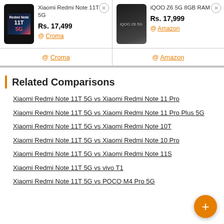| Xiaomi Redmi Note 11T 5G | iQOO Z6 5G 8GB RAM |
| --- | --- |
| Rs. 17,499 @ Croma | Rs. 17,999 @ Amazon |
| @ Croma | @ Amazon |
Related Comparisons
Xiaomi Redmi Note 11T 5G vs Xiaomi Redmi Note 11 Pro
Xiaomi Redmi Note 11T 5G vs Xiaomi Redmi Note 11 Pro Plus 5G
Xiaomi Redmi Note 11T 5G vs Xiaomi Redmi Note 10T
Xiaomi Redmi Note 11T 5G vs Xiaomi Redmi Note 10 Pro
Xiaomi Redmi Note 11T 5G vs Xiaomi Redmi Note 11S
Xiaomi Redmi Note 11T 5G vs vivo T1
Xiaomi Redmi Note 11T 5G vs POCO M4 Pro 5G